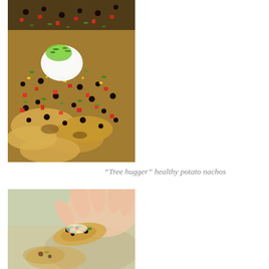[Figure (photo): Close-up photo of potato nachos topped with black beans, diced red tomatoes, green onions, sour cream, guacamole, and corn kernels, served on a wooden board.]
“Tree hugger” healthy potato nachos
[Figure (photo): Close-up photo of a hand holding a potato nacho topped with colorful vegetables including green onion, yellow corn, black beans, and red peppers.]